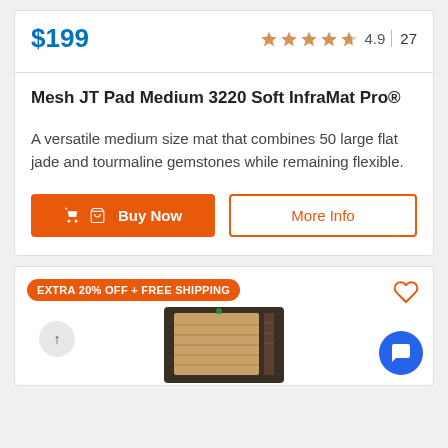$199
4.9  27
Mesh JT Pad Medium 3220 Soft InfraMat Pro®
A versatile medium size mat that combines 50 large flat jade and tourmaline gemstones while remaining flexible.
Buy Now
More Info
EXTRA 20% OFF + FREE SHIPPING
[Figure (photo): Product photo of a mat/pad (InfraMat Pro) shown partially at the bottom of the page]